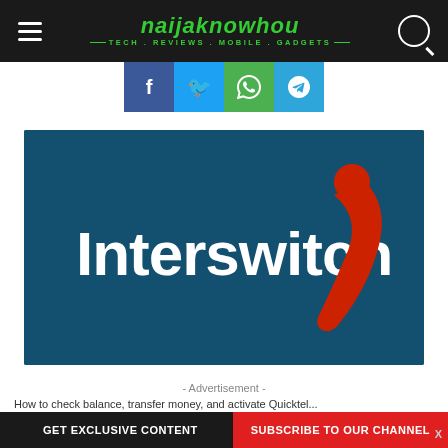naijaknowhou — TECH . REVIEWS . MOBILE . GADGETS
[Figure (logo): Social share buttons row: Facebook (blue), Twitter (light blue), WhatsApp (green), Telegram (blue)]
[Figure (logo): Interswitch logo on dark teal background with red figure icon]
- Advertisement -
GET EXCLUSIVE CONTENT   SUBSCRIBE TO OUR CHANNEL   X